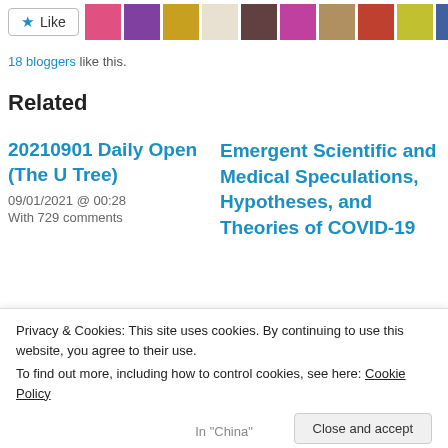[Figure (other): Like button with star icon and row of blogger avatars]
18 bloggers like this.
Related
20210901 Daily Open (The U Tree)
09/01/2021 @ 00:28
With 729 comments
Emergent Scientific and Medical Speculations, Hypotheses, and Theories of COVID-19
Privacy & Cookies: This site uses cookies. By continuing to use this website, you agree to their use.
To find out more, including how to control cookies, see here: Cookie Policy
Close and accept
In "China"